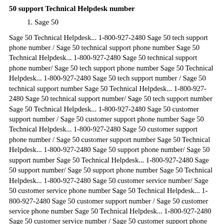50 support Technical Helpdesk number
1. Sage 50
Sage 50 Technical Helpdesk... 1-800-927-2480 Sage 50 tech support phone number / Sage 50 technical support phone number Sage 50 Technical Helpdesk... 1-800-927-2480 Sage 50 technical support phone number/ Sage 50 tech support phone number Sage 50 Technical Helpdesk... 1-800-927-2480 Sage 50 tech support number / Sage 50 technical support number Sage 50 Technical Helpdesk... 1-800-927-2480 Sage 50 technical support number/ Sage 50 tech support number Sage 50 Technical Helpdesk... 1-800-927-2480 Sage 50 customer support number / Sage 50 customer support phone number Sage 50 Technical Helpdesk... 1-800-927-2480 Sage 50 customer support phone number / Sage 50 customer support number Sage 50 Technical Helpdesk... 1-800-927-2480 Sage 50 support phone number/ Sage 50 support number Sage 50 Technical Helpdesk... 1-800-927-2480 Sage 50 support number/ Sage 50 support phone number Sage 50 Technical Helpdesk... 1-800-927-2480 Sage 50 customer service number/ Sage 50 customer service phone number Sage 50 Technical Helpdesk... 1-800-927-2480 Sage 50 customer support number / Sage 50 customer service phone number Sage 50 Technical Helpdesk... 1-800-927-2480 Sage 50 customer service number / Sage 50 customer support phone number